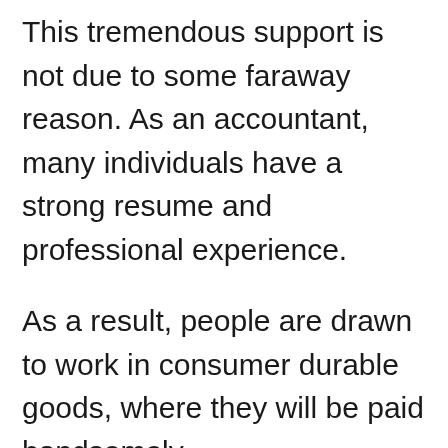This tremendous support is not due to some faraway reason. As an accountant, many individuals have a strong resume and professional experience.
As a result, people are drawn to work in consumer durable goods, where they will be paid handsomely.
Notwithstanding this, it is the responsibility of an account manager to engage with the target audience in person. It is also his responsibility to ensure that the company's routine tasks of